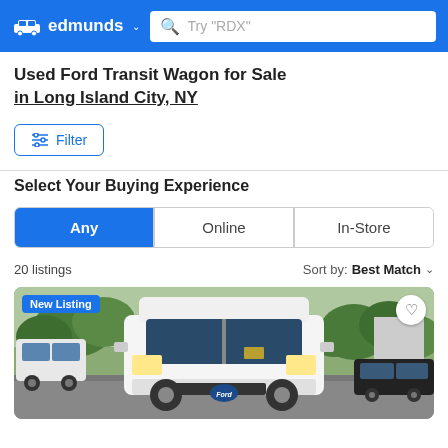edmunds
Used Ford Transit Wagon for Sale in Long Island City, NY
Filter
Select Your Buying Experience
Any | Online | In-Store
20 listings   Sort by: Best Match
[Figure (photo): Photo of a white Ford Transit Wagon van from the front, parked in a lot with trees in background. Badge says 'New Listing'.]